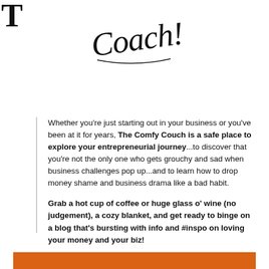[Figure (illustration): Decorative serif letter T in top left corner]
Coach!
Whether you're just starting out in your business or you've been at it for years, The Comfy Couch is a safe place to explore your entrepreneurial journey...to discover that you're not the only one who gets grouchy and sad when business challenges pop up...and to learn how to drop money shame and business drama like a bad habit.
Grab a hot cup of coffee or huge glass o' wine (no judgement), a cozy blanket, and get ready to binge on a blog that's bursting with info and #inspo on loving your money and your biz!
[Figure (illustration): Orange/burnt orange horizontal bar at the bottom of the page]